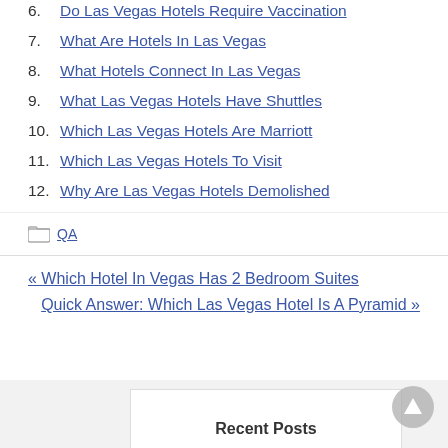6. Do Las Vegas Hotels Require Vaccination
7. What Are Hotels In Las Vegas
8. What Hotels Connect In Las Vegas
9. What Las Vegas Hotels Have Shuttles
10. Which Las Vegas Hotels Are Marriott
11. Which Las Vegas Hotels To Visit
12. Why Are Las Vegas Hotels Demolished
QA
« Which Hotel In Vegas Has 2 Bedroom Suites
Quick Answer: Which Las Vegas Hotel Is A Pyramid »
Recent Posts